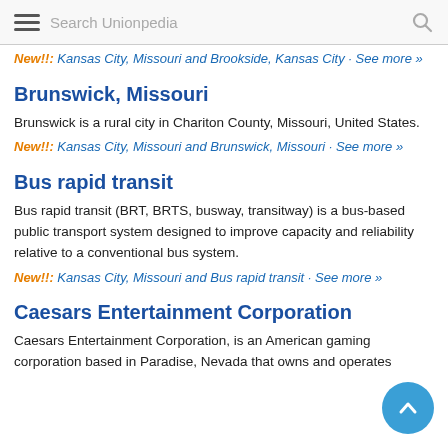Search Unionpedia
New!!: Kansas City, Missouri and Brookside, Kansas City · See more »
Brunswick, Missouri
Brunswick is a rural city in Chariton County, Missouri, United States.
New!!: Kansas City, Missouri and Brunswick, Missouri · See more »
Bus rapid transit
Bus rapid transit (BRT, BRTS, busway, transitway) is a bus-based public transport system designed to improve capacity and reliability relative to a conventional bus system.
New!!: Kansas City, Missouri and Bus rapid transit · See more »
Caesars Entertainment Corporation
Caesars Entertainment Corporation, is an American gaming corporation based in Paradise, Nevada that owns and operates